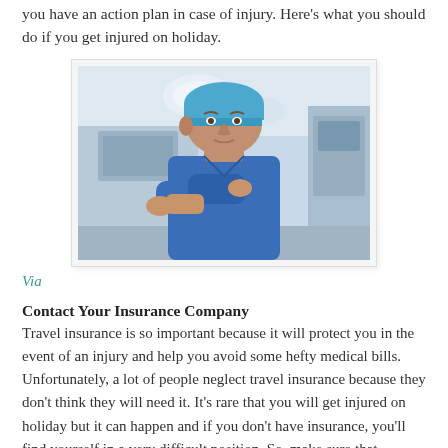you have an action plan in case of injury. Here’s what you should do if you get injured on holiday.
[Figure (photo): A male surgeon or doctor in blue scrubs and a surgical cap, standing with arms crossed in what appears to be an operating room or medical facility.]
Via
Contact Your Insurance Company
Travel insurance is so important because it will protect you in the event of an injury and help you avoid some hefty medical bills. Unfortunately, a lot of people neglect travel insurance because they don’t think they will need it. It’s rare that you will get injured on holiday but it can happen and if you don’t have insurance, you’ll find yourself in a very difficult position. So, make sure that insurance is on your pre-travel checklist and you get a